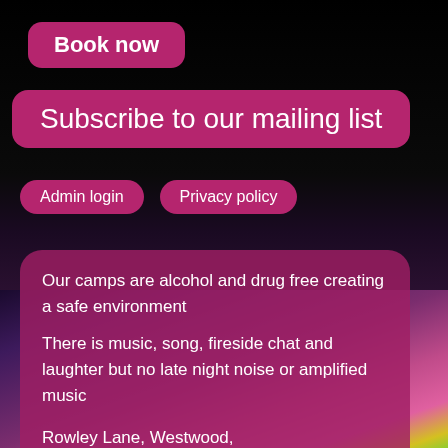Book now
Subscribe to our mailing list
Admin login
Privacy policy
Our camps are alcohol and drug free creating a safe environment
There is music, song, fireside chat and laughter but no late night noise or amplified music

Rowley Lane, Westwood,
Bradford on Avon, Wiltshire
Email: inafield@unicornvillagecamps.co.uk